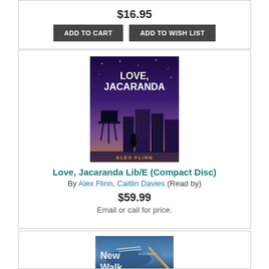$16.95
ADD TO CART
ADD TO WISH LIST
[Figure (photo): Book cover of Love, Jacaranda by Alex Flinn — purple night cityscape with water tower and silhouetted figure]
Love, Jacaranda Lib/E (Compact Disc)
By Alex Flinn, Caitlin Davies (Read by)
$59.99
Email or call for price.
[Figure (photo): Book cover of New Walk — blue toned image with sneakers and the title text]